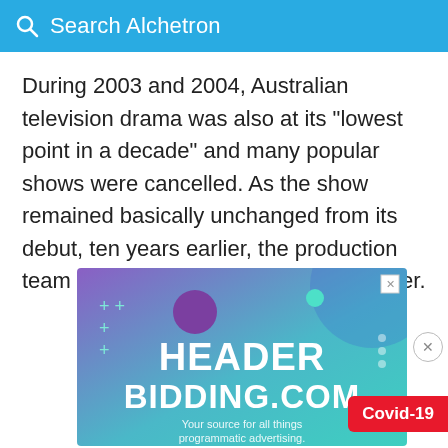Search Alchetron
During 2003 and 2004, Australian television drama was also at its "lowest point in a decade" and many popular shows were cancelled. As the show remained basically unchanged from its debut, ten years earlier, the production team decided that a revamp was in order.
[Figure (screenshot): Advertisement banner for HEADERBIDDING.COM with purple-to-teal gradient background, decorative circles and plus signs, large white bold text reading HEADER BIDDING.COM, and subtitle 'Your source for all things programmatic advertising.']